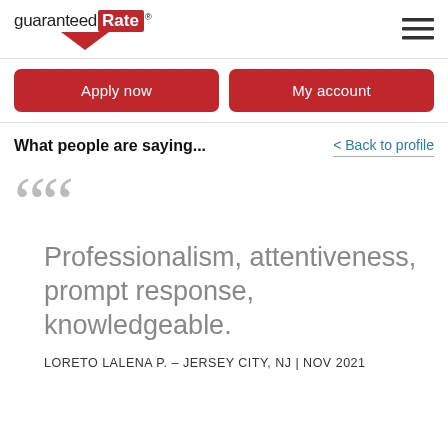[Figure (logo): Guaranteed Rate logo with red background on 'Rate' and red downward arrow beneath]
What people are saying...
< Back to profile
““ Professionalism, attentiveness, prompt response, knowledgeable.
LORETO LALENA P. – JERSEY CITY, NJ | NOV 2021